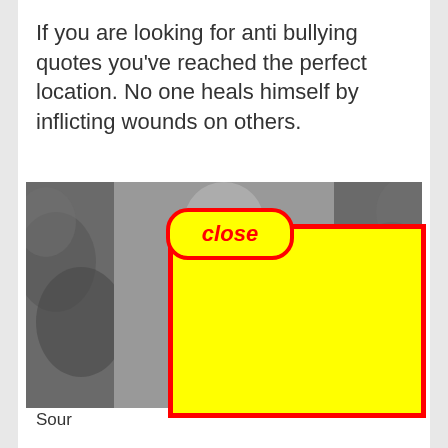If you are looking for anti bullying quotes you've reached the perfect location. No one heals himself by inflicting wounds on others.
[Figure (photo): Black and white photo of a person partially obscured, with leaves/foliage on both sides. A blue banner overlays the center-top area. A yellow rectangle with red border overlays the lower portion. A 'close' button with red border and yellow background appears at the top center of the image.]
Sour
Kno
yest
up fo